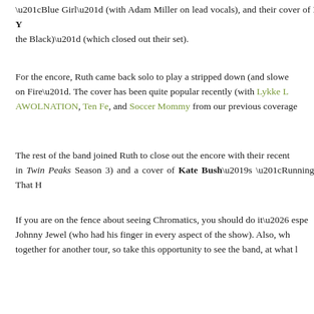“Blue Girl” (with Adam Miller on lead vocals), and their cover of Neil Y… the Black)” (which closed out their set).
For the encore, Ruth came back solo to play a stripped down (and slowe… on Fire”. The cover has been quite popular recently (with Lykke L… AWOLNATION, Ten Fe, and Soccer Mommy from our previous coverage…
The rest of the band joined Ruth to close out the encore with their recent… in Twin Peaks Season 3) and a cover of Kate Bush’s “Running Up That H…
If you are on the fence about seeing Chromatics, you should do it… espe… Johnny Jewel (who had his finger in every aspect of the show). Also, wh… together for another tour, so take this opportunity to see the band, at what l…